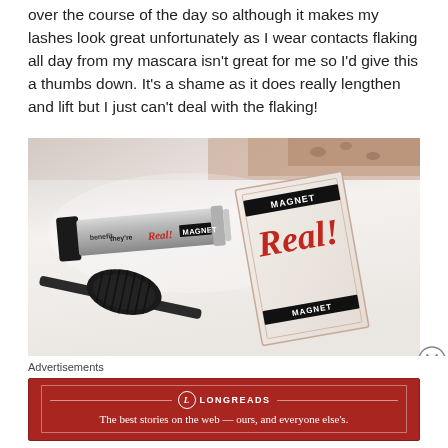over the course of the day so although it makes my lashes look great unfortunately as I wear contacts flaking all day from my mascara isn't great for me so I'd give this a thumbs down. It's a shame as it does really lengthen and lift but I just can't deal with the flaking!
[Figure (photo): Photo of Benefit They're Real! Magnet mascara tube and its packaging box laid on a white/light pink surface with fabric visible in the top right corner]
Advertisements
[Figure (other): Longreads advertisement banner in red: 'The best stories on the web — ours, and everyone else's.']